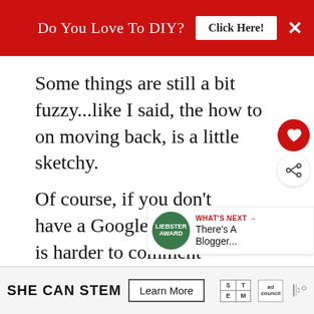[Figure (infographic): Red top banner ad with text 'Do You Love To DIY?', a white 'Click Here!' button, and a white X close button on the right.]
Some things are still a bit fuzzy...like I said, the how to on moving back, is a little sketchy.
Of course, if you don't have a Google account, it is harder to comment here. Y will come up as no reply and I won't be able to email you back, but rest a your comment will be answered here on
[Figure (infographic): Floating heart (favorite) and share buttons on the right side of the page.]
[Figure (infographic): What's Next widget showing a green Liebster badge and text 'There's A Blogger...' in red and black.]
[Figure (infographic): Bottom advertisement bar for 'SHE CAN STEM' with a Learn More button, STEM grid logo, Ad Council logo, and wave icon.]